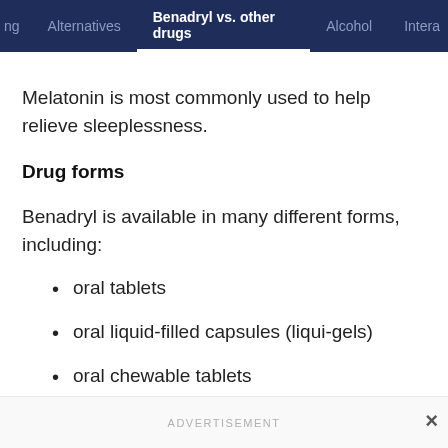ng   Alternatives   Benadryl vs. other drugs   Alcohol   Intera…
Melatonin is most commonly used to help relieve sleeplessness.
Drug forms
Benadryl is available in many different forms, including:
oral tablets
oral liquid-filled capsules (liqui-gels)
oral chewable tablets
oral liquid solution
ADVERTISEMENT